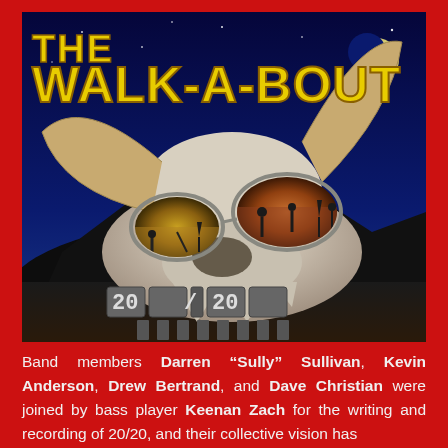[Figure (illustration): Album cover for 'The Walk-A-Bout' band, album titled '20/20'. Shows a large animal skull wearing sunglasses against a night sky with a crescent moon. The sunglasses reflect silhouettes of people and oil derricks. The text 'THE WALK-A-BOUT' appears at the top in yellow stylized font, and '20/20' appears at the bottom left on metal-look plates.]
Band members Darren "Sully" Sullivan, Kevin Anderson, Drew Bertrand, and Dave Christian were joined by bass player Keenan Zach for the writing and recording of 20/20, and their collective vision has